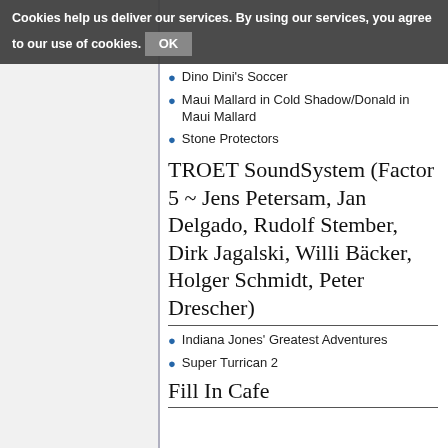Cookies help us deliver our services. By using our services, you agree to our use of cookies. OK
Dino Dini's Soccer
Maui Mallard in Cold Shadow/Donald in Maui Mallard
Stone Protectors
TROET SoundSystem (Factor 5 ~ Jens Petersam, Jan Delgado, Rudolf Stember, Dirk Jagalski, Willi Bäcker, Holger Schmidt, Peter Drescher)
Indiana Jones' Greatest Adventures
Super Turrican 2
Fill In Cafe